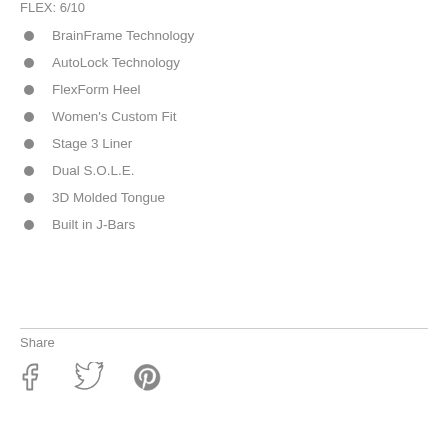FLEX: 6/10
BrainFrame Technology
AutoLock Technology
FlexForm Heel
Women's Custom Fit
Stage 3 Liner
Dual S.O.L.E.
3D Molded Tongue
Built in J-Bars
Share
[Figure (infographic): Social share icons: Facebook, Twitter, Pinterest]